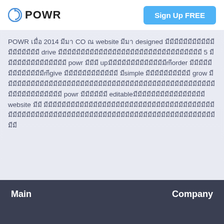POWR | Sign Up FREE
POWR เมื่อ 2014 มีมา CO ณ website มีมา designed มีมีมีมีมีมีมี มีมีมีมีมีมีมีมีมีมีมี drive มีมีมีมีมีมีมีมีมีมีมีมีมีมีมีมีมีมีมีมีมีมีมีมีมีมีมีมี 5 มีมีมีมีมีมีมีมีมี powr มีมีมี upมีมีมีมีมีมีมีมีมีมีorder มีมีมีมีมีมีมีมีมีมีมีมีgive มีมีมีมีมี มีsimple มีมีมีมีมีมีมีมีมี grow มีมีมีมีมีมีมีมีมีมีมีมีมีมีมีมีมีมีมีมีมีมีมีมีมีมีมีมีมีมีมีมีมีมีมีมีมีมีมีมีมี powr มีมีมีมีมี editableมีมีมีมีมีมีมีมี website มีมี มีมีมีมีมีมีมีมีมี
Main   Company